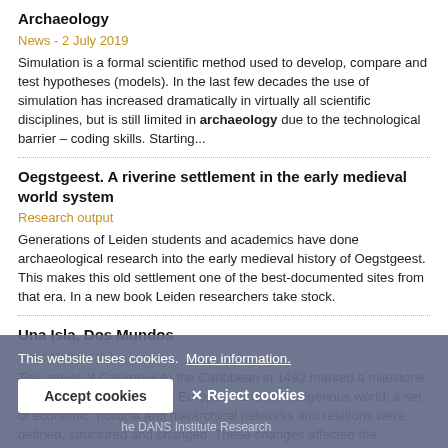Archaeology
News - 2 July 2019
Simulation is a formal scientific method used to develop, compare and test hypotheses (models). In the last few decades the use of simulation has increased dramatically in virtually all scientific disciplines, but is still limited in archaeology due to the technological barrier – coding skills. Starting...
Oegstgeest. A riverine settlement in the early medieval world system
Research output
Generations of Leiden students and academics have done archaeological research into the early medieval history of Oegstgeest. This makes this old settlement one of the best-documented sites from that era. In a new book Leiden researchers take stock.
Una Isla, Dos Mundos
Research output
The arrival of Columbus to the Caribbean in 1492 marked a milestone in world history. In both the European and the indigenous world, a set of economic, political and hierarchical networks and relations were defined, structured and changed. These changes affected the
This website uses cookies.  More information.
Accept cookies   ✕ Reject cookies